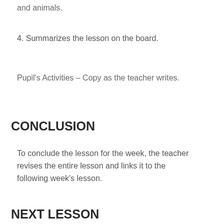and animals.
4. Summarizes the lesson on the board.
Pupil's Activities – Copy as the teacher writes.
CONCLUSION
To conclude the lesson for the week, the teacher revises the entire lesson and links it to the following week's lesson.
NEXT LESSON
Revision and Third Term Examination Agriculture Primary 1 (Basic 1) – Exam